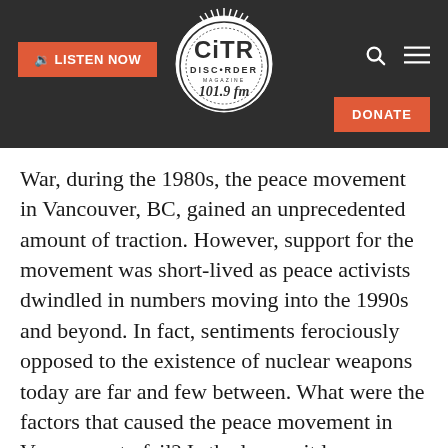[Figure (logo): CiTR Discorder 101.9 FM radio station logo — white circular badge with stylized text on dark background header. Includes orange 'LISTEN NOW' button on left, search and menu icons on right, and orange 'DONATE' button bottom right.]
War, during the 1980s, the peace movement in Vancouver, BC, gained an unprecedented amount of traction. However, support for the movement was short-lived as peace activists dwindled in numbers moving into the 1990s and beyond. In fact, sentiments ferociously opposed to the existence of nuclear weapons today are far and few between. What were the factors that caused the peace movement in Vancouver to fail? Is the legacy it leaves behind one that supports the value of political activism as a powerful agent for change?